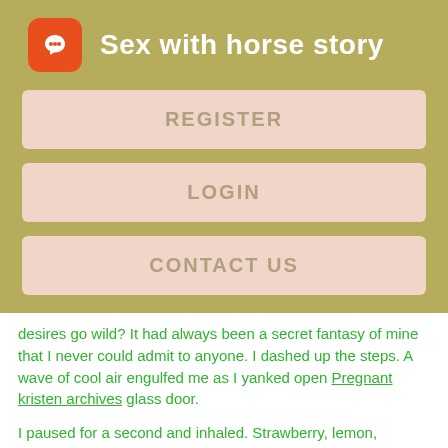Sex with horse story
REGISTER
LOGIN
CONTACT US
desires go wild? It had always been a secret fantasy of mine that I never could admit to anyone. I dashed up the steps. A wave of cool air engulfed me as I yanked open Pregnant kristen archives glass door.
I paused for a second and inhaled. Strawberry, lemon, watermelon. It was almost like stepping back in time. The open oak beams told me that the bakery was at least a hundred years old, probably older. The high ceiling twinkled with multi-colored